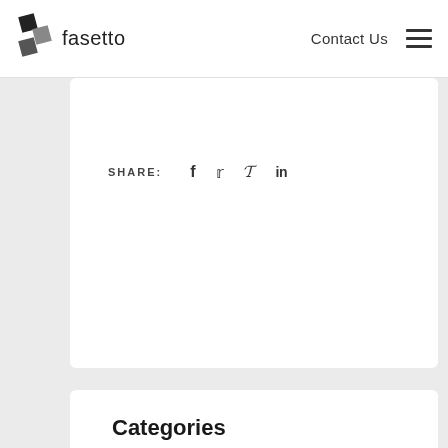fasetto | Contact Us
SHARE: f  t  p  in
Categories
Arts & Entertainment
Automotive
Beginner
Business
CES Profiles
Cloud storage